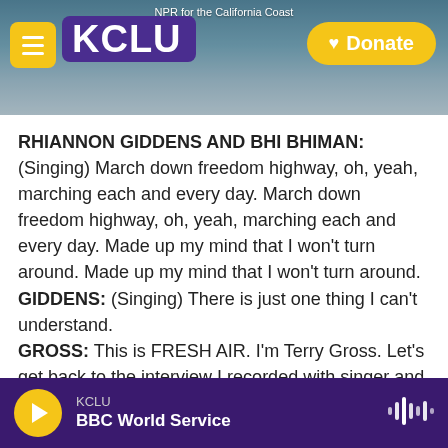[Figure (screenshot): KCLU radio station header banner with logo, hamburger menu, NPR for the California Coast tagline, and Donate button over a coastal city background photo]
RHIANNON GIDDENS AND BHI BHIMAN: (Singing) March down freedom highway, oh, yeah, marching each and every day. March down freedom highway, oh, yeah, marching each and every day. Made up my mind that I won't turn around. Made up my mind that I won't turn around.
GIDDENS: (Singing) There is just one thing I can't understand.
GROSS: This is FRESH AIR. I'm Terry Gross. Let's get back to the interview I recorded with singer and musician Rhiannon Giddens in 2017 after the
KCLU BBC World Service